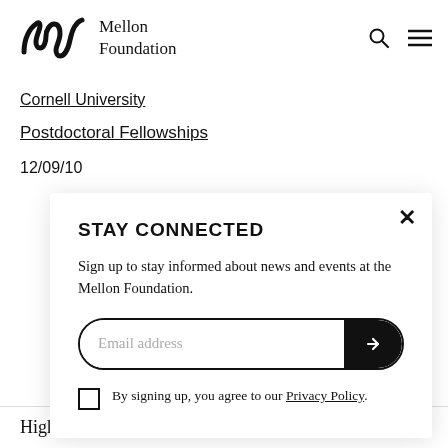[Figure (logo): Mellon Foundation logo with stylized M icon and wordmark 'Mellon Foundation']
Cornell University
Postdoctoral Fellowships
12/09/10
STAY CONNECTED
Sign up to stay informed about news and events at the Mellon Foundation.
Email address
By signing up, you agree to our Privacy Policy.
Higher Learning